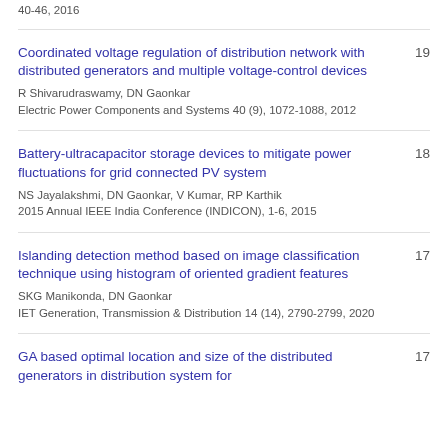40-46, 2016
Coordinated voltage regulation of distribution network with distributed generators and multiple voltage-control devices
R Shivarudraswamy, DN Gaonkar
Electric Power Components and Systems 40 (9), 1072-1088, 2012
19
Battery-ultracapacitor storage devices to mitigate power fluctuations for grid connected PV system
NS Jayalakshmi, DN Gaonkar, V Kumar, RP Karthik
2015 Annual IEEE India Conference (INDICON), 1-6, 2015
18
Islanding detection method based on image classification technique using histogram of oriented gradient features
SKG Manikonda, DN Gaonkar
IET Generation, Transmission & Distribution 14 (14), 2790-2799, 2020
17
GA based optimal location and size of the distributed generators in distribution system for
17